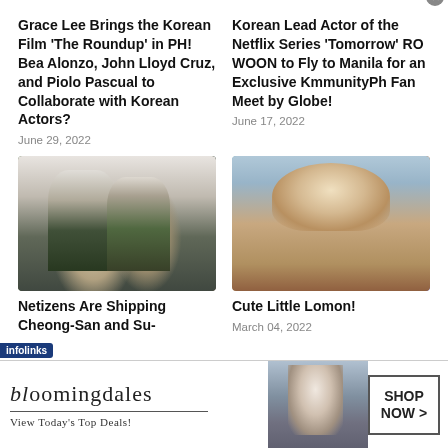Grace Lee Brings the Korean Film 'The Roundup' in PH! Bea Alonzo, John Lloyd Cruz, and Piolo Pascual to Collaborate with Korean Actors?
June 29, 2022
Korean Lead Actor of the Netflix Series 'Tomorrow' RO WOON to Fly to Manila for an Exclusive KmmunityPh Fan Meet by Globe!
June 17, 2022
[Figure (photo): Two young Korean men in formal attire posing together]
[Figure (photo): Young child wearing a cowboy hat]
Netizens Are Shipping Cheong-San and Su-
Cute Little Lomon!
March 04, 2022
[Figure (infographic): Bloomingdale's advertisement banner: 'bloomingdales — View Today's Top Deals!' with SHOP NOW > button]